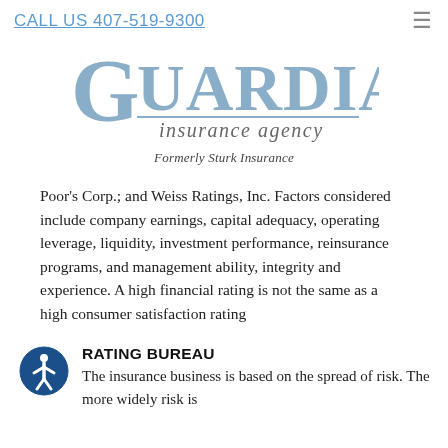CALL US 407-519-9300
[Figure (logo): Guardian Insurance Agency logo with large stylized letters and subtitle 'Formerly Sturk Insurance']
Poor's Corp.; and Weiss Ratings, Inc. Factors considered include company earnings, capital adequacy, operating leverage, liquidity, investment performance, reinsurance programs, and management ability, integrity and experience. A high financial rating is not the same as a high consumer satisfaction rating
RATING BUREAU
The insurance business is based on the spread of risk. The more widely risk is